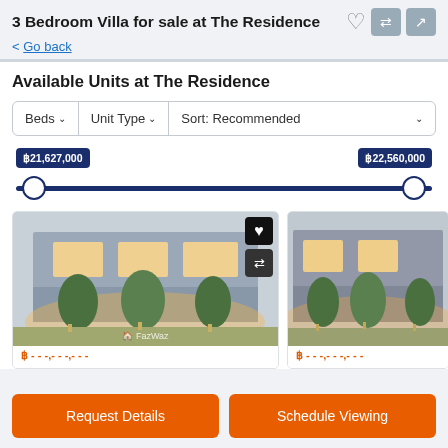3 Bedroom Villa for sale at The Residence
< Go back
Available Units at The Residence
Beds ∨   Unit Type ∨   Sort: Recommended ∨
฿21,627,000   ฿22,560,000
[Figure (photo): Two property listing cards showing villa exterior renders with warm lighting, trees, and modern facade. FazWaz watermark visible. Heart and compare icons overlaid.]
Request Details   Schedule Viewing